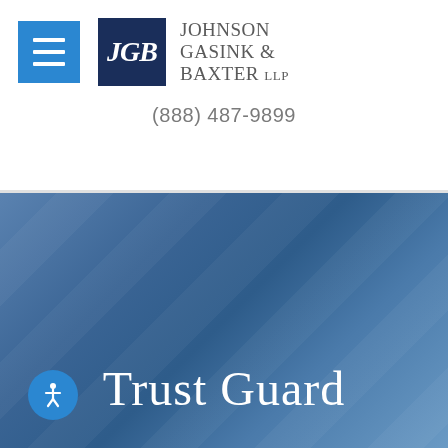[Figure (logo): Johnson Gasink & Baxter LLP law firm logo with JGB monogram in dark navy box and firm name in grey serif text]
(888) 487-9899
[Figure (illustration): Blue gradient hero banner with diagonal texture, accessibility icon button, and 'Trust Guard' text in white serif font]